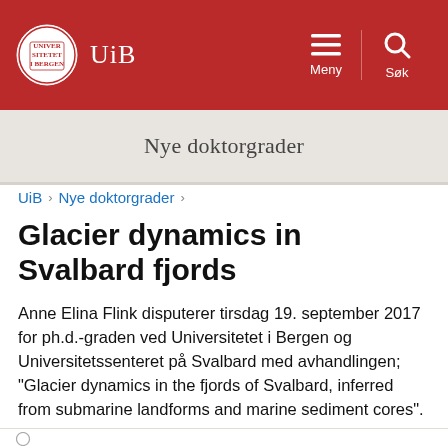[Figure (logo): University of Bergen (UiB) website header with red background, UiB circular logo and wordmark on the left, hamburger menu (Meny) and search (Søk) icons on the right]
Nye doktorgrader
UiB › Nye doktorgrader ›
Glacier dynamics in Svalbard fjords
Anne Elina Flink disputerer tirsdag 19. september 2017 for ph.d.-graden ved Universitetet i Bergen og Universitetssenteret på Svalbard med avhandlingen; "Glacier dynamics in the fjords of Svalbard, inferred from submarine landforms and marine sediment cores".